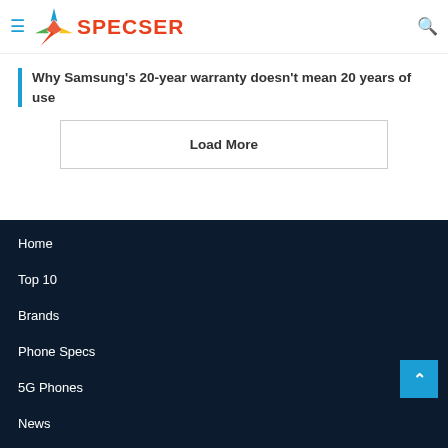SPECSER
Why Samsung's 20-year warranty doesn't mean 20 years of use
Load More
Home
Top 10
Brands
Phone Specs
5G Phones
News